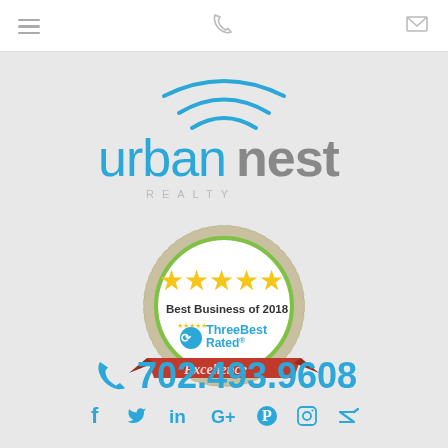Navigation header with hamburger menu, phone icon, and mail icon
[Figure (logo): urbannest REALTY logo with stylized circular arcs above the text]
[Figure (illustration): ThreeBestRated Best Business of 2018 Excellence badge with five gold stars and red ribbon]
702.493.9608
[Figure (infographic): Social media icons row: Facebook, Twitter, LinkedIn, Google+, Pinterest, Instagram, Zillow]